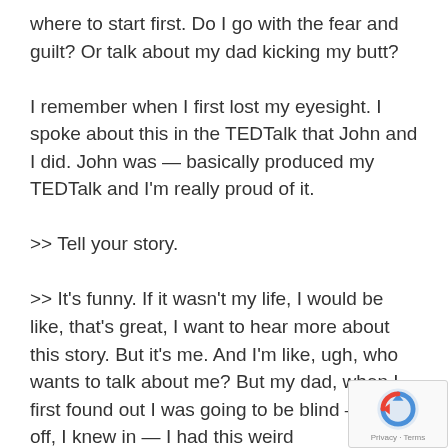where to start first. Do I go with the fear and guilt? Or talk about my dad kicking my butt? I remember when I first lost my eyesight. I spoke about this in the TEDTalk that John and I did. John was — basically produced my TEDTalk and I'm really proud of it.
>> Tell your story.
>> It's funny. If it wasn't my life, I would be like, that's great, I want to hear more about this story. But it's me. And I'm like, ugh, who wants to talk about me? But my dad, when I first found out I was going to be blind — first off, I knew in — I had this weird spiritual/morphine-induced haze. Morphine. Nic drug.
[Figure (other): reCAPTCHA badge with logo and Privacy/Terms link in bottom-right corner]